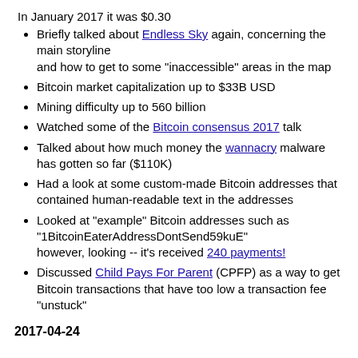In January 2017 it was $0.30
Briefly talked about Endless Sky again, concerning the main storyline and how to get to some "inaccessible" areas in the map
Bitcoin market capitalization up to $33B USD
Mining difficulty up to 560 billion
Watched some of the Bitcoin consensus 2017 talk
Talked about how much money the wannacry malware has gotten so far ($110K)
Had a look at some custom-made Bitcoin addresses that contained human-readable text in the addresses
Looked at "example" Bitcoin addresses such as "1BitcoinEaterAddressDontSend59kuE" however, looking -- it's received 240 payments!
Discussed Child Pays For Parent (CPFP) as a way to get Bitcoin transactions that have too low a transaction fee "unstuck"
2017-04-24